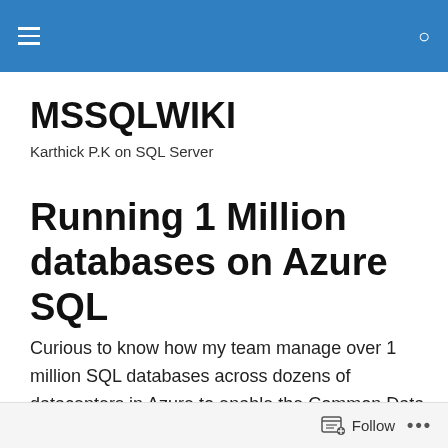MSSQLWIKI — site navigation header with hamburger menu and search icon
MSSQLWIKI
Karthick P.K on SQL Server
Running 1 Million databases on Azure SQL
Curious to know how my team manage over 1 million SQL databases across dozens of datacenters in Azure to enable the Common Data Service behind the Power Platform & Dynamics 365 hands free through Spartan and DAMS!
Follow ...